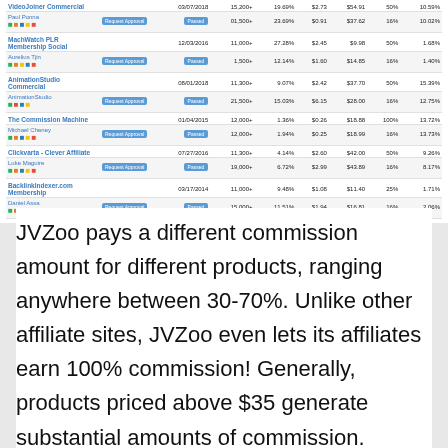| Product |  | Date | Gravity | Conv% | EPC | Avg$ | Comm% | RefundRate |
| --- | --- | --- | --- | --- | --- | --- | --- | --- |
| VideoJoiner Commercial |  | 03/07/2018 | 15,200+ | 19.69% | $2.73 | $54.91 | 50% | 10.59% |
| Paul Ponna | Request Approval | [icons] | Passed | 01,500+ | 23.69% | $0.91 | $37.62 | 16% | 10.02% |
| MachWatch PLR Membership Social |  | 12/03/2016 | 11,000+ | 27.28% | $2.45 | $9.98 | 50% | 1.68% |
| Aurelius Tjin | Request Approval | [icons] | Passed | 1,500+ | 12.14% | $1.60 | $14.85 | 16% | 1.40% |
| AnimationStudio Commercial |  | 08/01/2018 | 11,300+ | 9.07% | $2.42 | $37.70 | 50% | 15.39% |
| AnimationStudio | Request Approval | [icons] | Passed | 21,500+ | 15.03% | $6.15 | $28.00 | 16% | 12.75% |
| The Commission Machine |  | 01/04/2015 | 12,000+ | 1.36% | $0.26 | $18.88 | 100% | 13.72% |
| Michael Cheney | Request Approval | [icons] | Passed | 12,000+ | 1.94% | $0.25 | $18.99 | 16% | 13.73% |
| Clickvarta - Clever Affiliate |  | 07/27/2016 | 11,300+ | 4.14% | $2.60 | $42.00 | 50% | 9.26% |
| Luke Maguire | Request Approval | [icons] | Passed | 19,000+ | 6.72% | $2.99 | $43.89 | 16% | 8.17% |
| BacklinkIndexer.com Membership |  | 03/17/2014 | 11,000+ | 9.48% | $1.08 | $11.40 | 25% | 1.71% |
| Daniel Assa | Request Approval | [icons] | Passed | 15,000+ | 11.51% | $1.94 | $16.81 | 16% | 2.06% |
JVZoo pays a different commission amount for different products, ranging anywhere between 30-70%. Unlike other affiliate sites, JVZoo even lets its affiliates earn 100% commission! Generally, products priced above $35 generate substantial amounts of commission. Additionally, some niches are